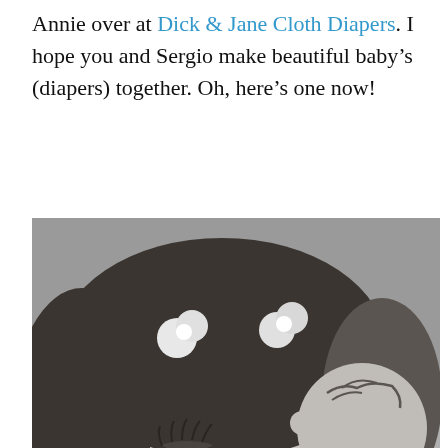Annie over at Dick & Jane Cloth Diapers. I hope you and Sergio make beautiful baby's (diapers) together. Oh, here's one now!
[Figure (photo): Black and white photograph of a young woman with flowers in her hair looking down at a newborn baby she is holding]
Advertisements
[Figure (photo): MAC Cosmetics advertisement banner showing colorful lipsticks and a Shop Now button]